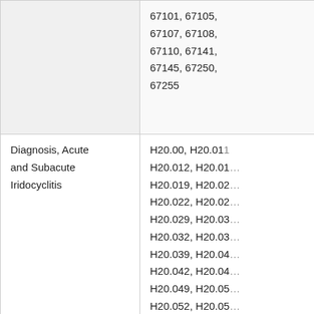|  | 67101, 67105, 67107, 67108, 67110, 67141, 67145, 67250, 67255 |
| Diagnosis, Acute and Subacute Iridocyclitis | H20.00, H20.011, H20.012, H20.01, H20.019, H20.02, H20.022, H20.02, H20.029, H20.03, H20.032, H20.03, H20.039, H20.04, H20.042, H20.04, H20.049, H20.05, H20.052, H20.05, H20.059 |